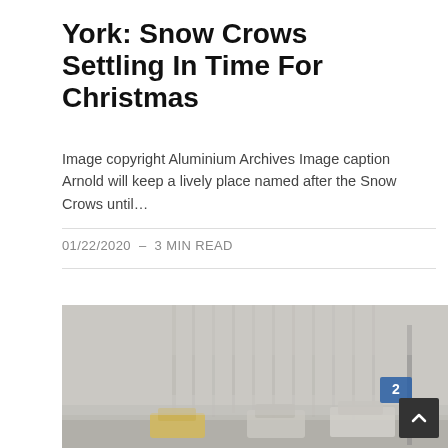York: Snow Crows Settling In Time For Christmas
Image copyright Aluminium Archives Image caption Arnold will keep a lively place named after the Snow Crows until…
01/22/2020  –  3 MIN READ
[Figure (photo): Foggy highway scene with cars driving in heavy fog. A blue road sign is visible on the right side. A dark scroll-to-top button with an upward chevron arrow is overlaid in the bottom-right corner.]